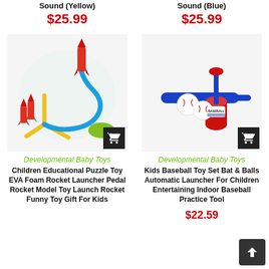Sound (Yellow)
Sound (Blue)
$25.99
$25.99
[Figure (photo): Children's EVA foam rocket launcher toy set with colorful rockets and launch pad]
[Figure (photo): Kids baseball toy set with blue bat, balls, and automatic launcher tee]
Developmental Baby Toys
Developmental Baby Toys
Children Educational Puzzle Toy EVA Foam Rocket Launcher Pedal Rocket Model Toy Launch Rocket Funny Toy Gift For Kids
Kids Baseball Toy Set Bat & Balls Automatic Launcher For Children Entertaining Indoor Baseball Practice Tool
$22.59